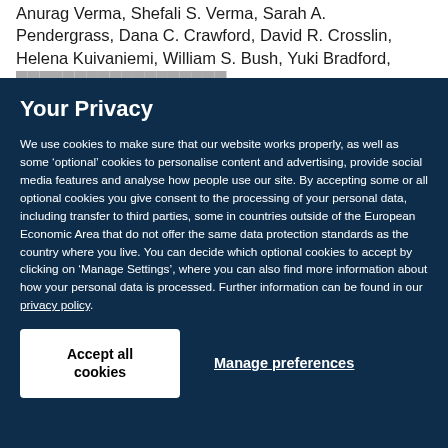Anurag Verma, Shefali S. Verma, Sarah A. Pendergrass, Dana C. Crawford, David R. Crosslin, Helena Kuivaniemi, William S. Bush, Yuki Bradford,
Your Privacy
We use cookies to make sure that our website works properly, as well as some ‘optional’ cookies to personalise content and advertising, provide social media features and analyse how people use our site. By accepting some or all optional cookies you give consent to the processing of your personal data, including transfer to third parties, some in countries outside of the European Economic Area that do not offer the same data protection standards as the country where you live. You can decide which optional cookies to accept by clicking on ‘Manage Settings’, where you can also find more information about how your personal data is processed. Further information can be found in our privacy policy.
Accept all cookies
Manage preferences